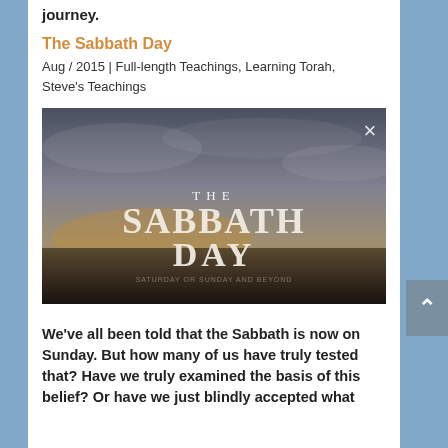journey.
The Sabbath Day
Aug / 2015 | Full-length Teachings, Learning Torah, Steve's Teachings
[Figure (photo): The Sabbath Day video thumbnail — dramatic sky with large serif text reading 'THE SABBATH DAY' and a close button (×) in the top right corner]
We've all been told that the Sabbath is now on Sunday. But how many of us have truly tested that? Have we truly examined the basis of this belief? Or have we just blindly accepted what